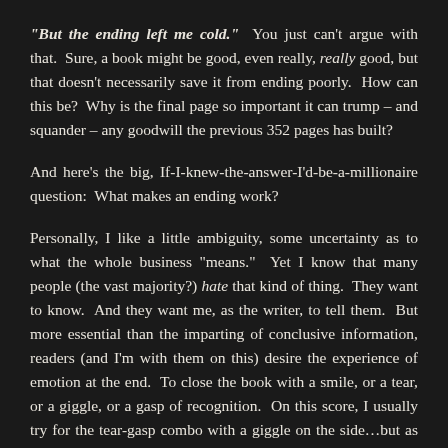“But the ending left me cold.”  You just can’t argue with that.  Sure, a book might be good, even really, really good, but that doesn’t necessarily save it from ending poorly.  How can this be?  Why is the final page so important it can trump – and squander – any goodwill the previous 352 pages has built?
And here’s the big, If-I-knew-the-answer-I’d-be-a-millionaire question:  What makes an ending work?
Personally, I like a little ambiguity, some uncertainty as to what the whole business “means.”  Yet I know that many people (the vast majority?) hate that kind of thing.  They want to know.  And they want me, as the writer, to tell them.  But more essential than the imparting of conclusive information, readers (and I’m with them on this) desire the experience of emotion at the end.  To close the book with a smile, or a tear, or a giggle, or a gasp of recognition.  On this score, I usually try for the tear-gasp combo with a giggle on the side…but as in all things, you’ll be the judge of whether I pull